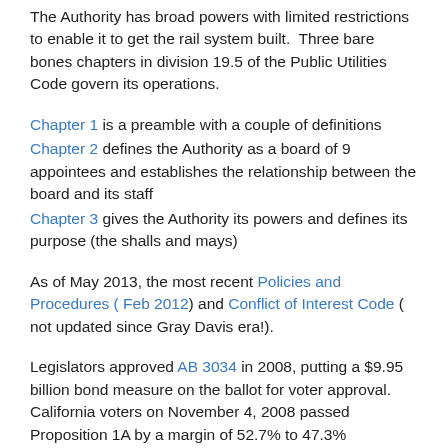The Authority has broad powers with limited restrictions to enable it to get the rail system built. Three bare bones chapters in division 19.5 of the Public Utilities Code govern its operations.
Chapter 1 is a preamble with a couple of definitions
Chapter 2 defines the Authority as a board of 9 appointees and establishes the relationship between the board and its staff
Chapter 3 gives the Authority its powers and defines its purpose (the shalls and mays)
As of May 2013, the most recent Policies and Procedures ( Feb 2012) and Conflict of Interest Code ( not updated since Gray Davis era!).
Legislators approved AB 3034 in 2008, putting a $9.95 billion bond measure on the ballot for voter approval. California voters on November 4, 2008 passed Proposition 1A by a margin of 52.7% to 47.3% (proposition analysis and arguments and rebuttals).